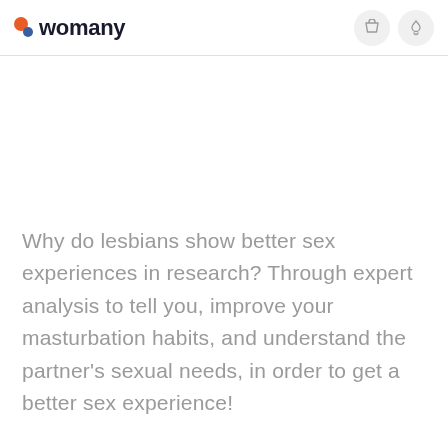womany
Why do lesbians show better sex experiences in research? Through expert analysis to tell you, improve your masturbation habits, and understand the partner's sexual needs, in order to get a better sex experience!